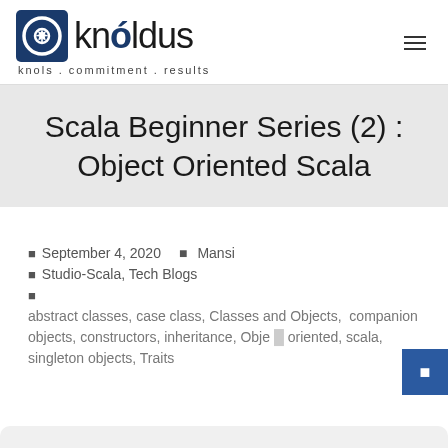knóldus — knols . commitment . results
Scala Beginner Series (2) : Object Oriented Scala
September 4, 2020   Mansi
Studio-Scala, Tech Blogs
abstract classes, case class, Classes and Objects, companion objects, constructors, inheritance, Object oriented, scala, singleton objects, Traits